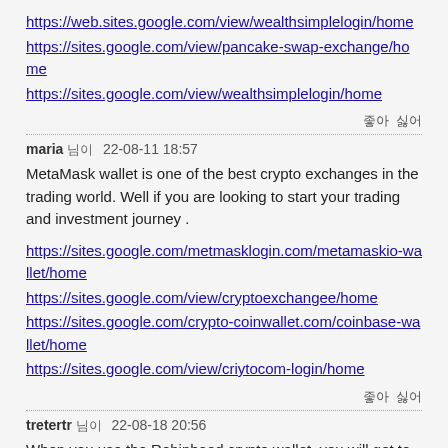https://web.sites.google.com/view/wealthsimplelogin/home
https://sites.google.com/view/pancake-swap-exchange/home
https://sites.google.com/view/wealthsimplelogin/home
좋아 싫어
maria 님이   22-08-11 18:57
MetaMask wallet is one of the best crypto exchanges in the trading world. Well if you are looking to start your trading and investment journey .
https://sites.google.com/metmasklogin.com/metamaskio-wallet/home
https://sites.google.com/view/cryptoexchangee/home
https://sites.google.com/crypto-coinwallet.com/coinbase-wallet/home
https://sites.google.com/view/cryptokom-login/home
좋아 싫어
tretertr 님이   22-08-18 20:56
When you use the Robinhood crypto wallet, you will get to know that Robinhood does not charge you any kind of crypto trading fee or commission fee. Therefore, you can use this wallet service to make sure that you are using the best wallet services that are available in the marketplace.
https://sites.google.com/robinhoodlogins.com/robinhoodcom-login/hom